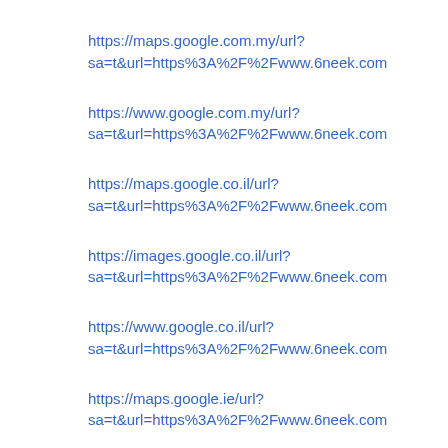https://maps.google.com.my/url?sa=t&url=https%3A%2F%2Fwww.6neek.com
https://www.google.com.my/url?sa=t&url=https%3A%2F%2Fwww.6neek.com
https://maps.google.co.il/url?sa=t&url=https%3A%2F%2Fwww.6neek.com
https://images.google.co.il/url?sa=t&url=https%3A%2F%2Fwww.6neek.com
https://www.google.co.il/url?sa=t&url=https%3A%2F%2Fwww.6neek.com
https://maps.google.ie/url?sa=t&url=https%3A%2F%2Fwww.6neek.com
https://www.google.ie/url?sa=t&url=https%3A%2F%2Fwww.6neek.com